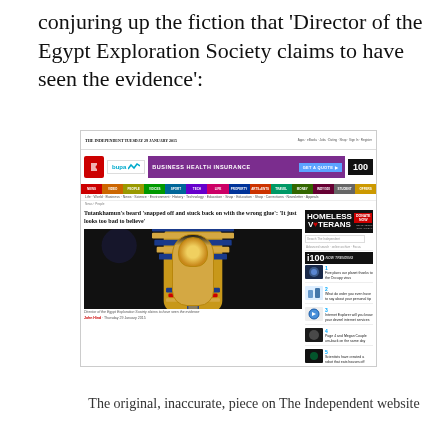conjuring up the fiction that 'Director of the Egypt Exploration Society claims to have seen the evidence':
[Figure (screenshot): Screenshot of The Independent website showing an article titled "Tutankhamun's beard 'snapped off and stuck back on with the wrong glue': 'It just looks too bad to believe'" with a photo of Tutankhamun's golden death mask and a caption reading 'Director of the Egypt Exploration Society claims to have seen the evidence'. The page also shows a Bupa Business Health Insurance advertisement banner, coloured navigation menu, and a right sidebar with 'Homeless Veterans' appeal and i100 trending stories.]
The original, inaccurate, piece on The Independent website